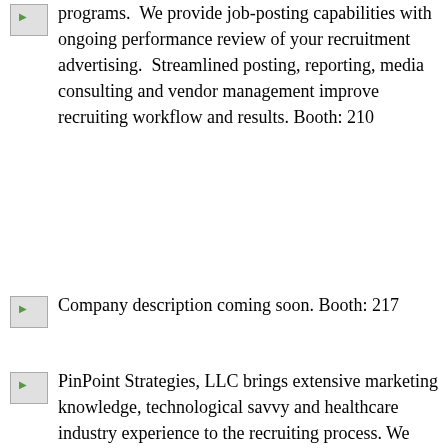programs.  We provide job-posting capabilities with ongoing performance review of your recruitment advertising.  Streamlined posting, reporting, media consulting and vendor management improve recruiting workflow and results. Booth: 210
Company description coming soon. Booth: 217
PinPoint Strategies, LLC brings extensive marketing knowledge, technological savvy and healthcare industry experience to the recruiting process. We help you narrow the field with a specialized marketing effort, allowing you to target candidates with amazing accuracy, in an easily customizable format. We enable you to communicate your message cost-effectively and efficiently via print, CD-ROM, web or interactive kiosk. Booth: 110